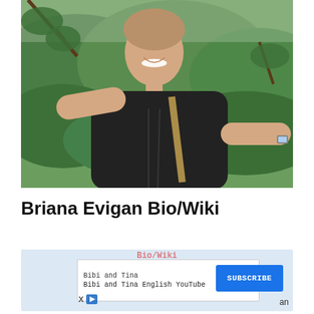[Figure (photo): Selfie of Briana Evigan outdoors on a hiking trail with lush green mountains in the background. She is wearing a black sleeveless top and has a backpack strap visible, smiling at the camera.]
Briana Evigan Bio/Wiki
[Figure (screenshot): Advertisement banner with light blue background. Contains a white ad card for 'Bibi and Tina' YouTube channel with text 'Bibi and Tina English YouTube' and a blue SUBSCRIBE button. Below are X and play icons.]